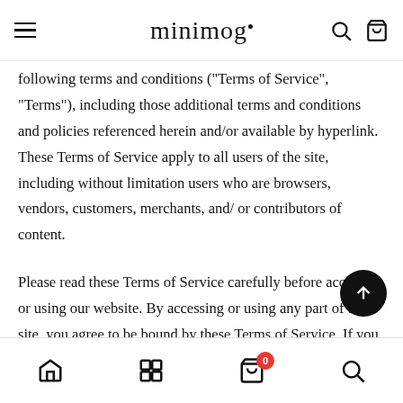minimog
following terms and conditions (“Terms of Service”, “Terms”), including those additional terms and conditions and policies referenced herein and/or available by hyperlink. These Terms of Service apply to all users of the site, including without limitation users who are browsers, vendors, customers, merchants, and/ or contributors of content.
Please read these Terms of Service carefully before accessing or using our website. By accessing or using any part of the site, you agree to be bound by these Terms of Service. If you do not agree to all the terms and conditions of this agreement, then you may not access the website or use any
Home | Grid | Cart (0) | Search